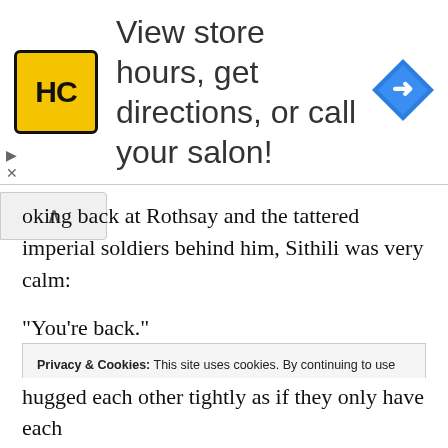[Figure (screenshot): Advertisement banner: HC salon logo (yellow square with HC text) and text 'View store hours, get directions, or call your salon!' with a blue navigation icon on the right]
ooking back at Rothsay and the tattered imperial soldiers behind him, Sithili was very calm:
“You’re back.”
But though he’s calm, the Bailu Star people behind him aren’t.
The moment they saw the soldiers, the crowd around
Privacy & Cookies: This site uses cookies. By continuing to use this website, you agree to their use.
To find out more, including how to control cookies, see here: Cookie Policy
hugged each other tightly as if they only have each